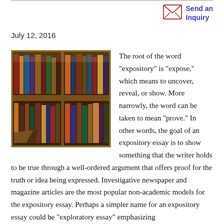[Figure (other): Envelope icon for sending an inquiry]
Send an Inquiry
July 12, 2016
[Figure (photo): Photograph of a bookshelf filled with old books]
The root of the word "expository" is "expose," which means to uncover, reveal, or show. More narrowly, the word can be taken to mean "prove." In other words, the goal of an expository essay is to show something that the writer holds to be true through a well-ordered argument that offers proof for the truth or idea being expressed. Investigative newspaper and magazine articles are the most popular non-academic models for the expository essay. Perhaps a simpler name for an expository essay could be "exploratory essay" emphasizing